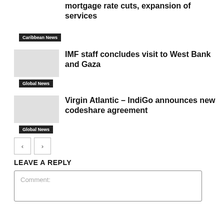mortgage rate cuts, expansion of services
Caribbean News
IMF staff concludes visit to West Bank and Gaza
Global News
Virgin Atlantic – IndiGo announces new codeshare agreement
Global News
LEAVE A REPLY
Comment: